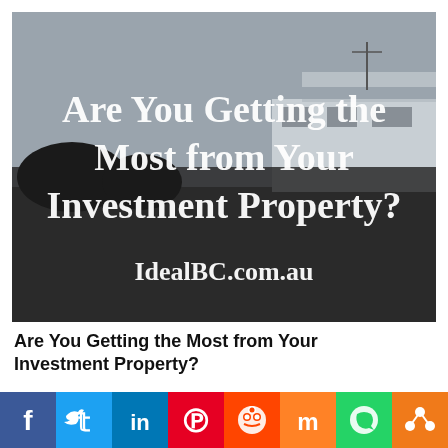[Figure (photo): Hero image showing a modern house with grey sky background, overlaid with white text reading 'Are You Getting the Most from Your Investment Property?' and 'IdealBC.com.au']
Are You Getting the Most from Your Investment Property?
[Figure (infographic): Social sharing bar with icons for Facebook (dark blue), Twitter (light blue), LinkedIn (blue), Pinterest (red), Reddit (orange-red), Mix (dark red), WhatsApp (green), and Share (orange)]